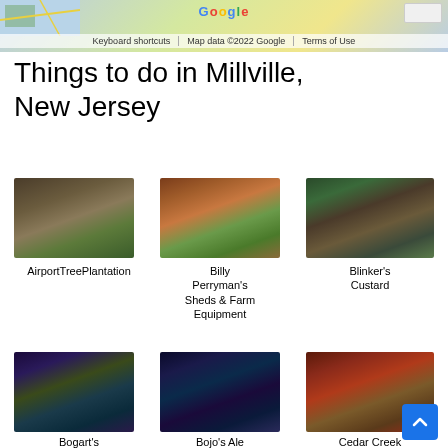[Figure (screenshot): Google Maps partial view with keyboard shortcuts, Map data ©2022 Google, Terms of Use bar]
Things to do in Millville, New Jersey
[Figure (photo): Airport Tree Plantation - trees landscape]
[Figure (photo): Billy Perryman's Sheds & Farm Equipment - wooden shed]
[Figure (photo): Blinker's Custard - storefront on rainy street]
AirportTreePlantation
Billy Perryman's Sheds & Farm Equipment
Blinker's Custard
[Figure (photo): Bogart's Bookstore and - neon light interior]
[Figure (photo): Bojo's Ale House - dark bar interior with blue lights]
[Figure (photo): Cedar Creek Sporting Clays - red targets outdoors]
Bogart's Bookstore and
Bojo's Ale House
Cedar Creek Sporting Clays